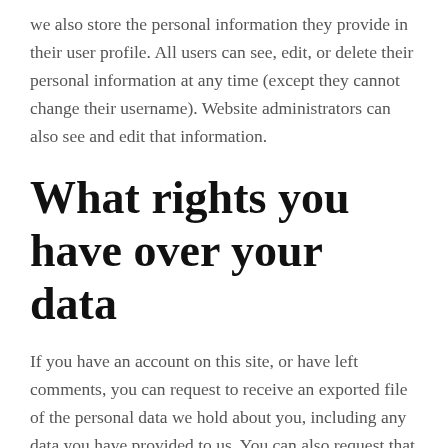we also store the personal information they provide in their user profile. All users can see, edit, or delete their personal information at any time (except they cannot change their username). Website administrators can also see and edit that information.
What rights you have over your data
If you have an account on this site, or have left comments, you can request to receive an exported file of the personal data we hold about you, including any data you have provided to us. You can also request that we erase any personal data we hold about you. This does not include